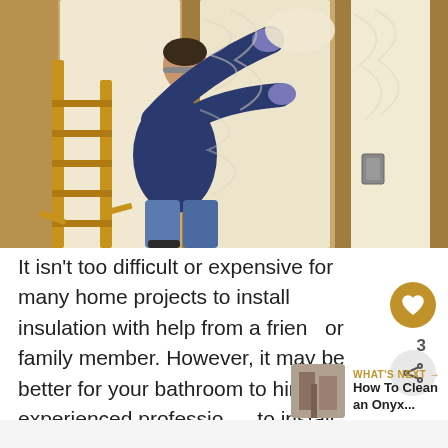[Figure (photo): A man in a dark blue sweater and jeans standing on a wooden ladder, installing batt insulation (fluffy white/cream colored) into wall studs of a wood-framed wall. He is wearing gloves and reaching up to stuff insulation between the wall cavities.]
It isn't too difficult or expensive for many home projects to install insulation with help from a friend or family member. However, it may be better for your bathroom to hire an experienced professional to install specific types of insulation.
WHAT'S NEXT → How To Clean an Onyx...